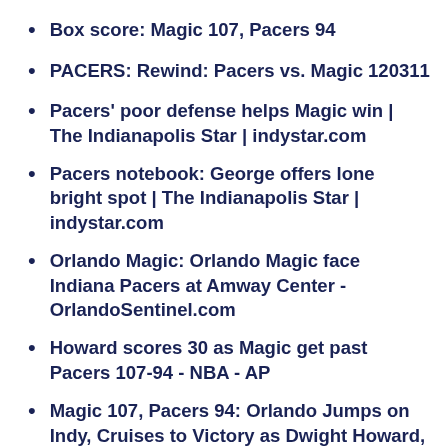Box score: Magic 107, Pacers 94
PACERS: Rewind: Pacers vs. Magic 120311
Pacers' poor defense helps Magic win | The Indianapolis Star | indystar.com
Pacers notebook: George offers lone bright spot | The Indianapolis Star | indystar.com
Orlando Magic: Orlando Magic face Indiana Pacers at Amway Center - OrlandoSentinel.com
Howard scores 30 as Magic get past Pacers 107-94 - NBA - AP
Magic 107, Pacers 94: Orlando Jumps on Indy, Cruises to Victory as Dwight Howard, J.J. Redick Shine - Orlando Pinstriped Post
Post-Game Grades: Magic Destroy Pacers |